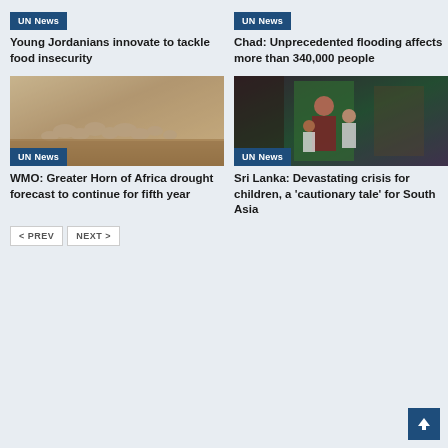[Figure (other): UN News tag badge for Young Jordanians article]
Young Jordanians innovate to tackle food insecurity
[Figure (other): UN News tag badge for Chad article]
Chad: Unprecedented flooding affects more than 340,000 people
[Figure (photo): Herd of sheep or livestock walking in dusty, hazy desert conditions, Greater Horn of Africa drought]
WMO: Greater Horn of Africa drought forecast to continue for fifth year
[Figure (photo): A woman and two children standing in a doorway in Sri Lanka, inside a modest home]
Sri Lanka: Devastating crisis for children, a 'cautionary tale' for South Asia
< PREV  NEXT >